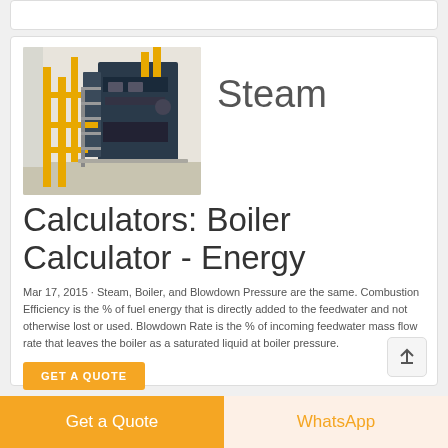[Figure (photo): Industrial steam boiler with yellow pipes and metal scaffolding in a factory setting]
Steam
Calculators: Boiler Calculator - Energy
Mar 17, 2015 · Steam, Boiler, and Blowdown Pressure are the same. Combustion Efficiency is the % of fuel energy that is directly added to the feedwater and not otherwise lost or used. Blowdown Rate is the % of incoming feedwater mass flow rate that leaves the boiler as a saturated liquid at boiler pressure.
GET A QUOTE
Get a Quote
WhatsApp